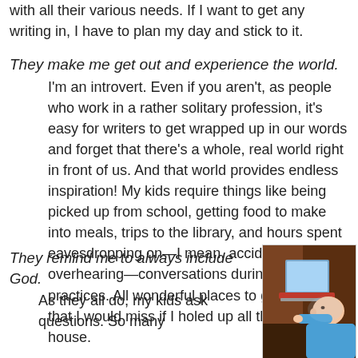with all their various needs. If I want to get any writing in, I have to plan my day and stick to it.
They make me get out and experience the world. I'm an introvert. Even if you aren't, as people who work in a rather solitary profession, it's easy for writers to get wrapped up in our words and forget that there's a whole, real world right in front of us. And that world provides endless inspiration! My kids require things like being picked up from school, getting food to make into meals, trips to the library, and hours spent eavesdropping on—I mean, accidentally overhearing—conversations during sports practices. All wonderful places to gather ideas that I would miss if I holed up all the time in my house.
They remind me to always include God. As they all do, my kids ask questions. So many
[Figure (photo): A baby or young toddler in a blue shirt using a laptop computer, viewed from the side in a dimly lit room.]